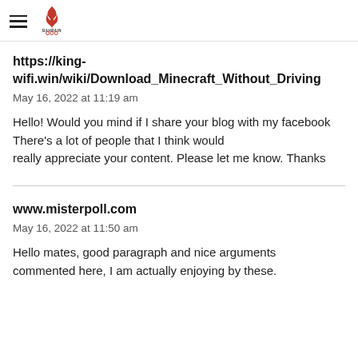Bahrain Olympic Committee navigation header with logo
https://king-wifi.win/wiki/Download_Minecraft_Without_Driving
May 16, 2022 at 11:19 am
Hello! Would you mind if I share your blog with my facebook There's a lot of people that I think would really appreciate your content. Please let me know. Thanks
www.misterpoll.com
May 16, 2022 at 11:50 am
Hello mates, good paragraph and nice arguments commented here, I am actually enjoying by these.